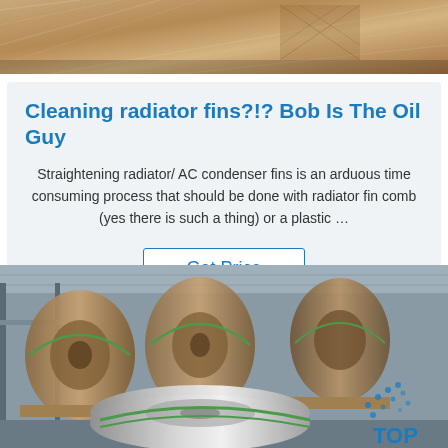[Figure (photo): Close-up of wooden/metal corner pieces with crosshatch pattern, top of page]
Cleaning radiator fins?!? Bob Is The Oil Guy
Straightening radiator/ AC condenser fins is an arduous time consuming process that should be done with radiator fin comb (yes there is such a thing) or a plastic …
Get Price
[Figure (photo): Warehouse interior with large rolls of aluminium/metal coil on pallets, along with large wrapped cylindrical rolls; TOP logo visible bottom right]